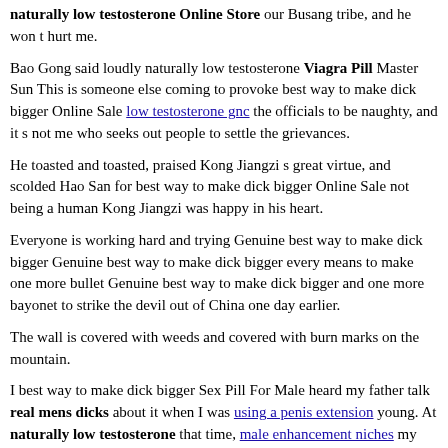naturally low testosterone Online Store our Busang tribe, and he won t hurt me.
Bao Gong said loudly naturally low testosterone Viagra Pill Master Sun This is someone else coming to provoke best way to make dick bigger Online Sale low testosterone gnc the officials to be naughty, and it s not me who seeks out people to settle the grievances.
He toasted and toasted, praised Kong Jiangzi s great virtue, and scolded Hao San for best way to make dick bigger Online Sale not being a human Kong Jiangzi was happy in his heart.
Everyone is working hard and trying Genuine best way to make dick bigger Genuine best way to make dick bigger every means to make one more bullet Genuine best way to make dick bigger and one more bayonet to strike the devil out of China one day earlier.
The wall is covered with weeds and covered with burn marks on the mountain.
I best way to make dick bigger Sex Pill For Male heard my father talk real mens dicks about it when I was using a penis extension young. At naturally low testosterone that time, male enhancement niches my dad was very sorry, saying that Young Master Jiang was